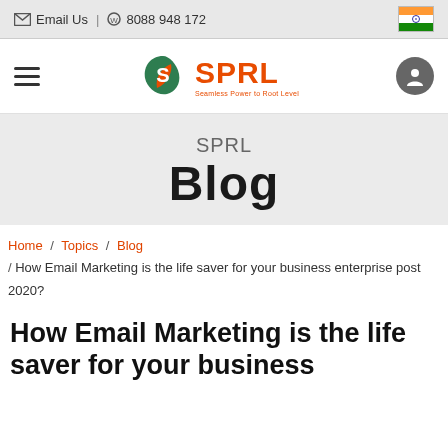✉ Email Us | ☎ 8088 948 172
[Figure (logo): SPRL logo with green leaf/S icon and orange SPRL text, tagline: Seamless Power to Root Level]
SPRL Blog
Home / Topics / Blog / How Email Marketing is the life saver for your business enterprise post 2020?
How Email Marketing is the life saver for your business